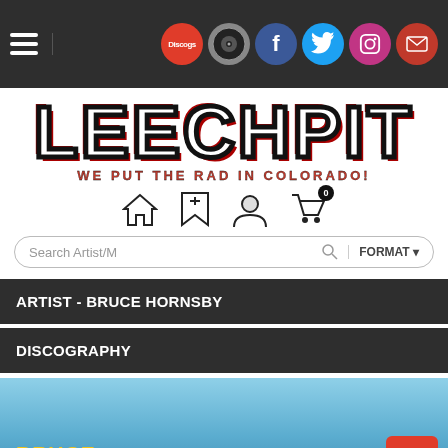LEECHPIT.COM navigation bar with hamburger menu and social icons: Discogs, vinyl icon, Facebook, Twitter, Instagram, Email
[Figure (logo): LEECHPIT.COM logo in large bold black/white/red graffiti lettering with tagline WE PUT THE RAD IN COLORADO!]
[Figure (infographic): Navigation icons: home, bookmark/wishlist, user/account, shopping cart with 0 badge]
Search Artist/M ... FORMAT
ARTIST - BRUCE HORNSBY
DISCOGRAPHY
[Figure (photo): Album art preview showing blue sky background with text BRUCE HORNSBY and 'FLICTED in yellow, and a back-to-top red button]